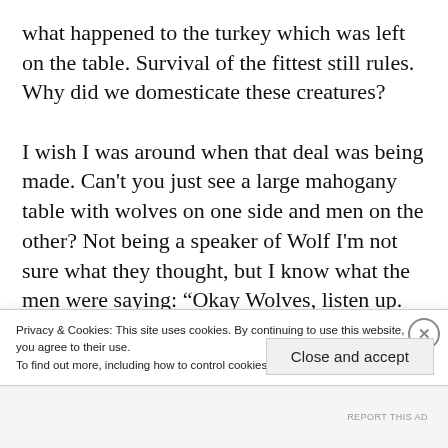what happened to the turkey which was left on the table. Survival of the fittest still rules. Why did we domesticate these creatures?

I wish I was around when that deal was being made. Can't you just see a large mahogany table with wolves on one side and men on the other? Not being a speaker of Wolf I'm not sure what they thought, but I know what the men were saying: “Okay Wolves, listen up. You have better senses than us and are much better hunters, so here's deal. We going to tie piece of leather
Privacy & Cookies: This site uses cookies. By continuing to use this website, you agree to their use.
To find out more, including how to control cookies, see here: Cookie Policy